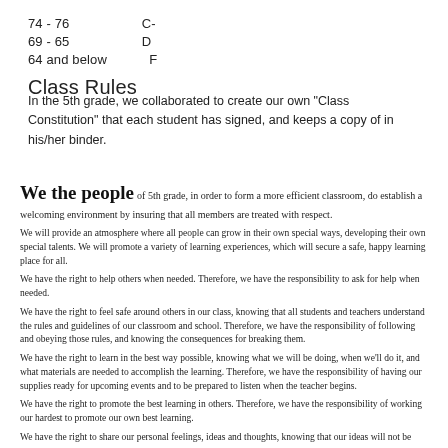74 - 76   C-
69 - 65   D
64 and below   F
Class Rules
In the 5th grade, we collaborated to create our own "Class Constitution" that each student has signed, and keeps a copy of in his/her binder.
[Figure (illustration): Handwritten class constitution document beginning with 'We the people' in cursive script, followed by several paragraphs of rights and responsibilities in a handwritten font.]
We the people of 5th grade, in order to form a more efficient classroom, do establish a welcoming environment by insuring that all members are treated with respect.
We will provide an atmosphere where all people can grow in their own special ways, developing their own special talents. We will promote a variety of learning experiences, which will secure a safe, happy learning place for all.
We have the right to help others when needed. Therefore, we have the responsibility to ask for help when needed.
We have the right to feel safe around others in our class, knowing that all students and teachers understand the rules and guidelines of our classroom and school. Therefore, we have the responsibility of following and obeying those rules, and knowing the consequences for breaking them.
We have the right to learn in the best way possible, knowing what we will be doing, when we'll do it, and what materials are needed to accomplish the learning. Therefore, we have the responsibility of having our supplies ready for upcoming events and to be prepared to listen when the teacher begins.
We have the right to promote the best learning in others. Therefore, we have the responsibility of working our hardest to promote our own best learning.
We have the right to share our personal feelings, ideas and thoughts, knowing that our ideas will not be ridiculed, therefore, we have the responsibility to listen others speak.